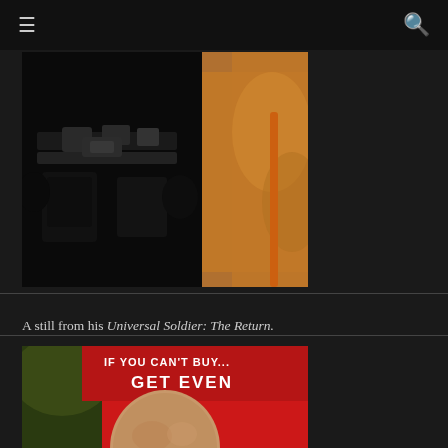[Figure (photo): A still from Universal Soldier: The Return showing a soldier in dark tactical gear/body armor from the torso down, with a blurred autumn outdoor background.]
A still from his Universal Soldier: The Return.
[Figure (photo): A photo of a bald man at what appears to be a promotional event, with a red banner behind him reading 'IF YOU CAN'T BUY... GET EVEN'.]